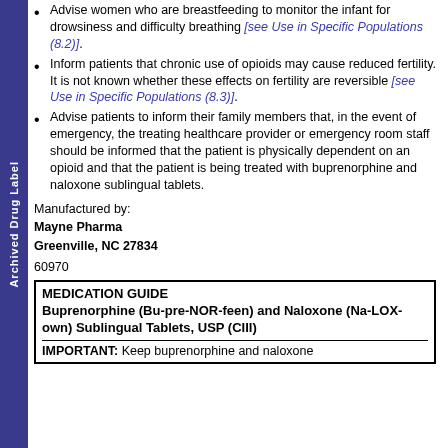Archived Drug Label
Advise women who are breastfeeding to monitor the infant for drowsiness and difficulty breathing [see Use in Specific Populations (8.2)].
Inform patients that chronic use of opioids may cause reduced fertility. It is not known whether these effects on fertility are reversible [see Use in Specific Populations (8.3)].
Advise patients to inform their family members that, in the event of emergency, the treating healthcare provider or emergency room staff should be informed that the patient is physically dependent on an opioid and that the patient is being treated with buprenorphine and naloxone sublingual tablets.
Manufactured by:
Mayne Pharma
Greenville, NC 27834
60970
| MEDICATION GUIDE
Buprenorphine (Bu-pre-NOR-feen) and Naloxone (Na-LOX-own) Sublingual Tablets, USP (CIII) |
| IMPORTANT: Keep buprenorphine and naloxone |